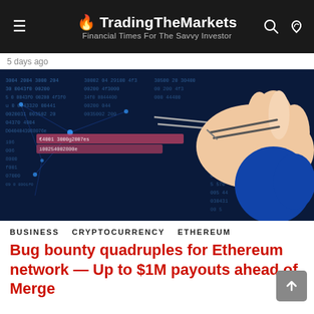🔥 TradingTheMarkets — Financial Times For The Savvy Investor
5 days ago
[Figure (illustration): Illustration of a hand holding tweezers picking up a highlighted code string from a blue digital data/network background, representing a bug bounty or code vulnerability concept.]
BUSINESS   CRYPTOCURRENCY   ETHEREUM
Bug bounty quadruples for Ethereum network — Up to $1M payouts ahead of Merge